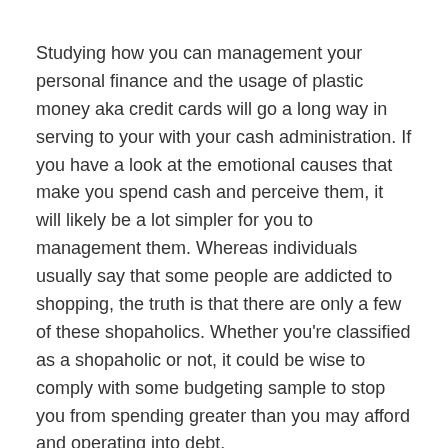Studying how you can management your personal finance and the usage of plastic money aka credit cards will go a long way in serving to your with your cash administration. If you have a look at the emotional causes that make you spend cash and perceive them, it will likely be a lot simpler for you to management them. Whereas individuals usually say that some people are addicted to shopping, the truth is that there are only a few of these shopaholics. Whether you're classified as a shopaholic or not, it could be wise to comply with some budgeting sample to stop you from spending greater than you may afford and operating into debt.
Finance for used automotive is only out there for cars that are lower than eight years old. Hold this in mind when looking for vehicles within the used market. Additional, the loan quantity might be